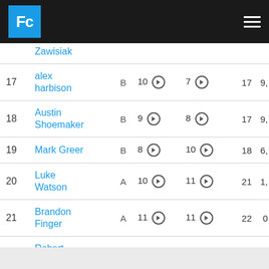Fc [logo] | hamburger menu
| # | Name | Div | Score1 | Score2 | Total | Pts |
| --- | --- | --- | --- | --- | --- | --- |
|  | Zawisiak |  |  |  |  |  |
| 17 | alex harbison | B | 10 → | 7 → | 17 | 9, |
| 18 | Austin Shoemaker | B | 9 → | 8 → | 17 | 9, |
| 19 | Mark Greer | B | 8 → | 10 → | 18 | 6, |
| 20 | Luke Watson | A | 10 → | 11 → | 21 | 1, |
| 21 | Brandon Finger | A | 11 → | 11 → | 22 | 0 |
| 22 | Robert Stegall | B | 11 → | 11 → | 22 | 0 |